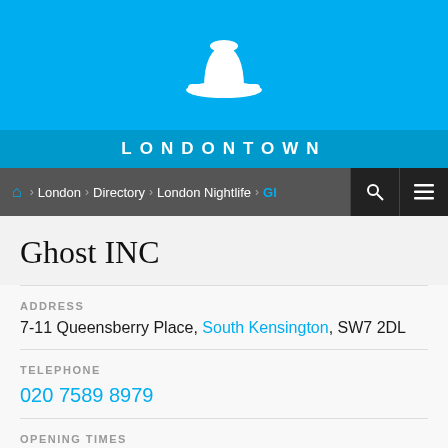[Figure (logo): White bowler hat icon on blue background - Londontown logo]
LONDONTOWN
London > Directory > London Nightlife > Gl
Ghost INC
ADDRESS
7-11 Queensberry Place, South Kensington, SW7 2DL
TELEPHONE
020 7589 8979
OPENING TIMES
Tues-Sun, 5.30pm-2.30am; Closed Mon